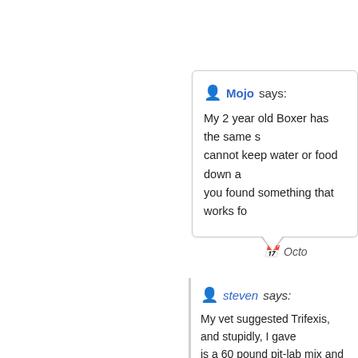Mojo says: My 2 year old Boxer has the same s... cannot keep water or food down a... you found something that works fo...
Octo...
steven says: My vet suggested Trifexis, and stupidly, I gave... is a 60 pound pit-lab mix and was almost a y... started vomiting nonstop. First we thought it... on until the next morning. Of course we too... likely a reaction from the Trifexis. Not only w... of it, and wouldn't eat or drink. She also wou... This subsided over a few days, however, it...